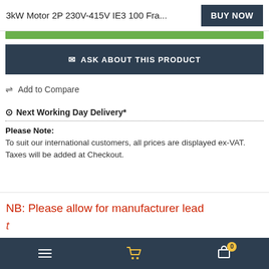3kW Motor 2P 230V-415V IE3 100 Fra...
ASK ABOUT THIS PRODUCT
⇌ Add to Compare
⊙ Next Working Day Delivery*
Please Note:
To suit our international customers, all prices are displayed ex-VAT. Taxes will be added at Checkout.
NB: Please allow for manufacturer lead
≡  🛒  🛒 0